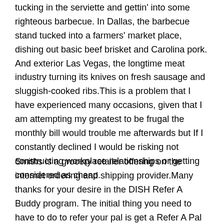tucking in the serviette and gettin' into some righteous barbecue. In Dallas, the barbecue stand tucked into a farmers' market place, dishing out basic beef brisket and Carolina pork. And exterior Las Vegas, the longtime meat industry turning its knives on fresh sausage and sluggish-cooked ribs.This is a problem that I have experienced many occasions, given that I am attempting my greatest to be frugal the monthly bill would trouble me afterwards but If I constantly declined I would be risking not constructing workplace relationships or getting considered as cheap.
Smiths is a grocery retailer offering on the internet ordering and shipping provider.Many thanks for your desire in the DISH Refer A Buddy program. The initial thing you need to have to do to refer your pal is get a Refer A Pal Code, also recognized as a RAF Code: Your possess personalized 13-character code that youll use to refer close friends to DISH.Business Driver HQ strives to